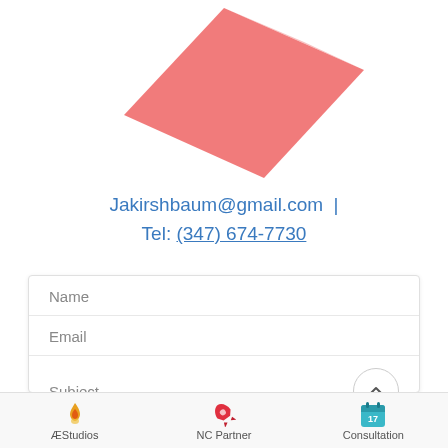[Figure (illustration): Red/coral colored diamond or rhombus shape logo graphic tilted at an angle, resembling a flat geometric gem or app icon]
Jakirshbaum@gmail.com  |  Tel: (347) 674-7730
[Figure (screenshot): Contact form with fields: Name, Email, Subject (with a circular chevron-up button), and 'Type your message here' text area placeholder]
ÆStudios   NC Partner   Consultation